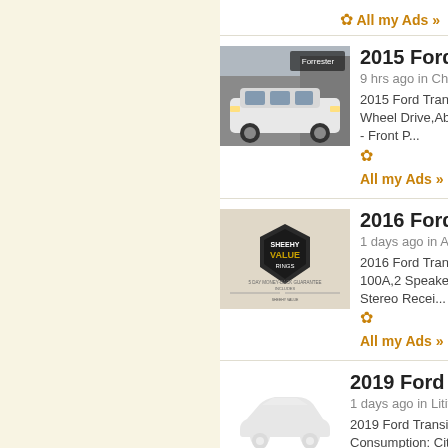❄ All my Ads »
[Figure (photo): 2015 Ford Transit Connect white SUV from Forrester Lincoln dealer]
2015 Ford Tra...
9 hrs ago in Cham...
2015 Ford Transit... Wheel Drive,Abs,... - Front P...
❄ All my Ads »
[Figure (photo): 2016 Ford Transit Connect Sheehy Value Ringg badge image]
2016 Ford Tra...
1 days ago in Ash...
2016 Ford Transit... 100A,2 Speakers... Stereo Recei...
❄ All my Ads »
[Figure (photo): 2019 Ford Transit Connect placeholder car silhouette image]
2019 Ford Tra...
1 days ago in Litit...
2019 Ford Transit... Consumption: Cit... Highw...
❄ All my Ads »